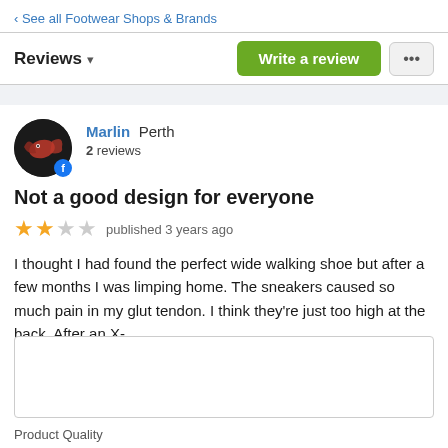‹ See all Footwear Shops & Brands
Reviews ▼
Write a review
[Figure (photo): Circular avatar photo of reviewer Marlin showing a dark background with a red/pink figure, with a Facebook badge icon overlaid at bottom-right]
Marlin Perth
2 reviews
Not a good design for everyone
★★☆☆ published 3 years ago
I thought I had found the perfect wide walking shoe but after a few months I was limping home. The sneakers caused so much pain in my glut tendon. I think they're just too high at the back. After an X-
Product Quality